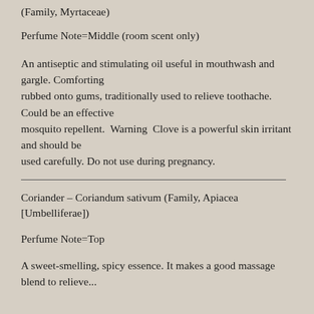(Family, Myrtaceae)
Perfume Note=Middle (room scent only)
An antiseptic and stimulating oil useful in mouthwash and gargle. Comforting rubbed onto gums, traditionally used to relieve toothache. Could be an effective mosquito repellent.  Warning  Clove is a powerful skin irritant and should be used carefully. Do not use during pregnancy.
Coriander – Coriandum sativum (Family, Apiacea [Umbelliferae])
Perfume Note=Top
A sweet-smelling, spicy essence. It makes a good massage blend to relieve...